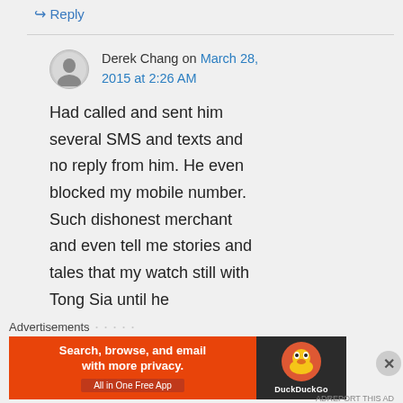↪ Reply
Derek Chang on March 28, 2015 at 2:26 AM
Had called and sent him several SMS and texts and no reply from him. He even blocked my mobile number. Such dishonest merchant and even tell me stories and tales that my watch still with Tong Sia until he
Advertisements
[Figure (screenshot): DuckDuckGo advertisement banner: 'Search, browse, and email with more privacy. All in One Free App' on orange background with DuckDuckGo duck logo on dark background]